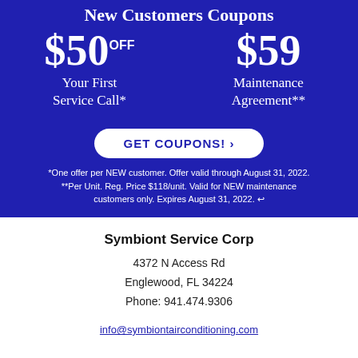New Customers Coupons
$50 OFF Your First Service Call*
$59 Maintenance Agreement**
GET COUPONS! ›
*One offer per NEW customer. Offer valid through August 31, 2022. **Per Unit. Reg. Price $118/unit. Valid for NEW maintenance customers only. Expires August 31, 2022. ↵
Symbiont Service Corp
4372 N Access Rd
Englewood, FL 34224
Phone: 941.474.9306
info@symbiontairconditioning.com